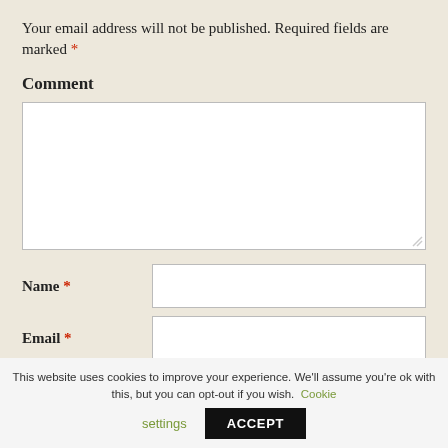Your email address will not be published. Required fields are marked *
Comment
[Figure (other): Empty comment text area input box]
Name *
[Figure (other): Empty Name text input field]
Email *
[Figure (other): Empty Email text input field]
Website
[Figure (other): Empty Website text input field]
This website uses cookies to improve your experience. We'll assume you're ok with this, but you can opt-out if you wish. Cookie settings ACCEPT